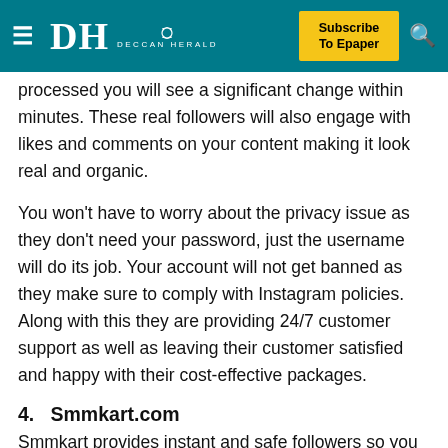DH DECCAN HERALD | Subscribe To Epaper
processed you will see a significant change within minutes. These real followers will also engage with likes and comments on your content making it look real and organic.
You won't have to worry about the privacy issue as they don't need your password, just the username will do its job. Your account will not get banned as they make sure to comply with Instagram policies. Along with this they are providing 24/7 customer support as well as leaving their customer satisfied and happy with their cost-effective packages.
4.  Smmkart.com
Smmkart provides instant and safe followers so you can buy followers with no worries. The instant service will show results within hours and will also make the growth look organic as they do not deal with ghost followers. These